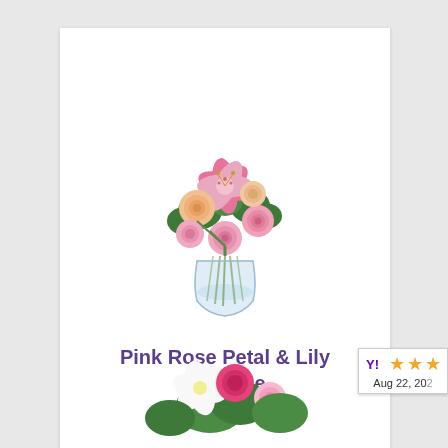[Figure (photo): Product photo of a floral bouquet with pink roses, pink stargazer lilies, peach roses, yellow berries, and green foliage arranged in a clear glass vase with stems visible through the glass.]
Pink Rose Petal & Lily Surprise
$39.99 - $59.99
[Figure (photo): Partially visible second flower bouquet at the bottom of the page with pink and white blooms.]
[Figure (other): Yahoo Shopping rating badge showing 3 stars and date Aug 22, 20XX]